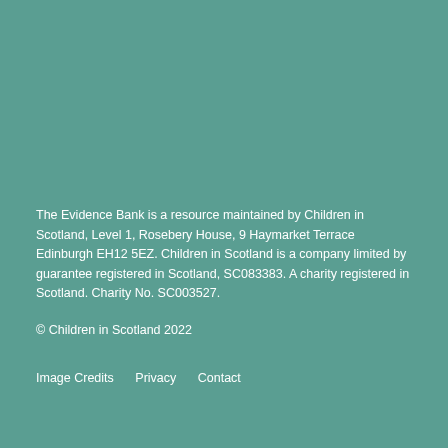The Evidence Bank is a resource maintained by Children in Scotland, Level 1, Rosebery House, 9 Haymarket Terrace Edinburgh EH12 5EZ. Children in Scotland is a company limited by guarantee registered in Scotland, SC083383. A charity registered in Scotland. Charity No. SC003527.
© Children in Scotland 2022
Image Credits   Privacy   Contact